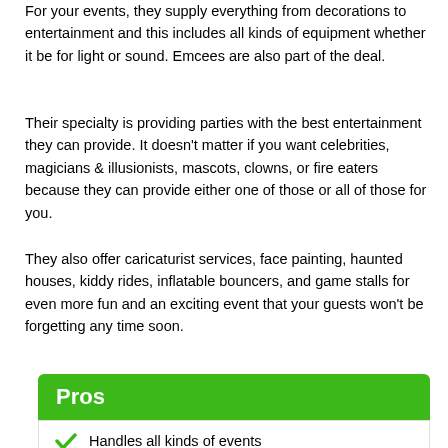For your events, they supply everything from decorations to entertainment and this includes all kinds of equipment whether it be for light or sound. Emcees are also part of the deal.
Their specialty is providing parties with the best entertainment they can provide. It doesn't matter if you want celebrities, magicians & illusionists, mascots, clowns, or fire eaters because they can provide either one of those or all of those for you.
They also offer caricaturist services, face painting, haunted houses, kiddy rides, inflatable bouncers, and game stalls for even more fun and an exciting event that your guests won't be forgetting any time soon.
Pros
Handles all kinds of events